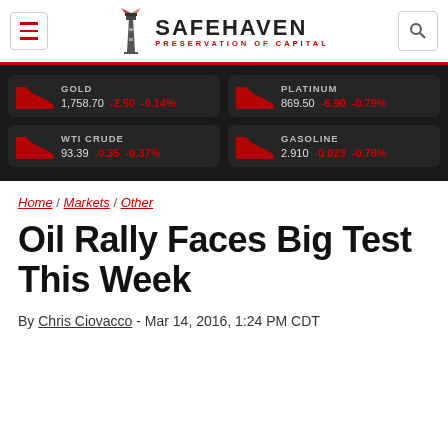SAFEHAVEN — PRESERVATION OF CAPITAL
[Figure (infographic): Market ticker widget showing GOLD 1,758.70 -2.50 -0.14%, PLATINUM 869.50 -6.90 -0.79%, WTI CRUDE 93.39 -0.35 -0.37%, GASOLINE 2.910 -0.023 -0.78%]
Home / Markets / Other
Oil Rally Faces Big Test This Week
By Chris Ciovacco - Mar 14, 2016, 1:24 PM CDT